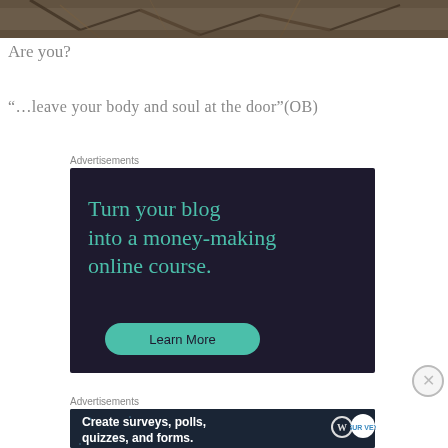[Figure (photo): Partial photo strip at top showing tangled roots or branches on ground, cropped]
Are you?
“…leave your body and soul at the door”(OB)
Advertisements
[Figure (infographic): Dark navy advertisement box reading 'Turn your blog into a money-making online course.' with a teal 'Learn More' button]
Advertisements
[Figure (infographic): Dark advertisement bar reading 'Create surveys, polls, quizzes, and forms.' with WordPress and survey logos]